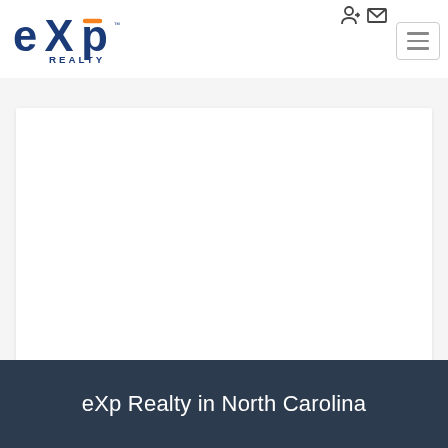[Figure (logo): eXp Realty logo with blue 'exp' text and orange 'p' accent, and 'REALTY' text below]
[Figure (other): Navigation icons: login/user icon and envelope/mail icon in top right corner]
[Figure (other): Hamburger menu button (three horizontal lines) in top right, with border]
[Figure (other): White content card/panel in the main body area]
eXp Realty in North Carolina